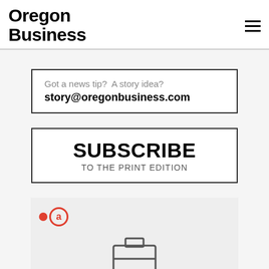Oregon Business
Got a news tip?  A story idea?
story@oregonbusiness.com
SUBSCRIBE TO THE PRINT EDITION
[Figure (logo): Red dot and letter 'a' logo mark, with a briefcase icon below on grey background]